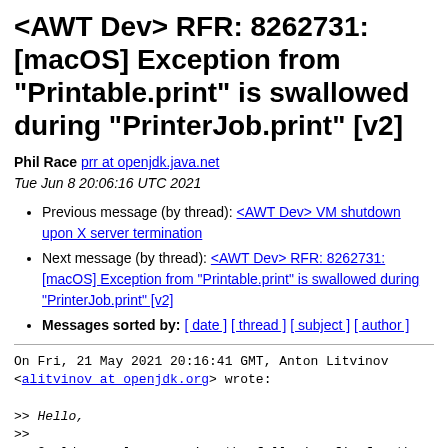<AWT Dev> RFR: 8262731: [macOS] Exception from "Printable.print" is swallowed during "PrinterJob.print" [v2]
Phil Race prr at openjdk.java.net
Tue Jun 8 20:06:16 UTC 2021
Previous message (by thread): <AWT Dev> VM shutdown upon X server termination
Next message (by thread): <AWT Dev> RFR: 8262731: [macOS] Exception from "Printable.print" is swallowed during "PrinterJob.print" [v2]
Messages sorted by: [ date ] [ thread ] [ subject ] [ author ]
On Fri, 21 May 2021 20:16:41 GMT, Anton Litvinov
<alitvinov at openjdk.org> wrote:

>> Hello,
>>
>> Could you please review the following fix for the